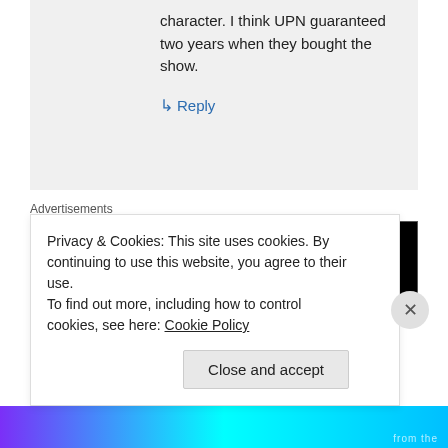character. I think UPN guaranteed two years when they bought the show.
↳ Reply
Advertisements
[Figure (other): Longreads advertisement banner, black background with red circle logo and text 'Read anything great lately?']
James on April 21, 2010 at 7:45 pm
Privacy & Cookies: This site uses cookies. By continuing to use this website, you agree to their use.
To find out more, including how to control cookies, see here: Cookie Policy
Close and accept